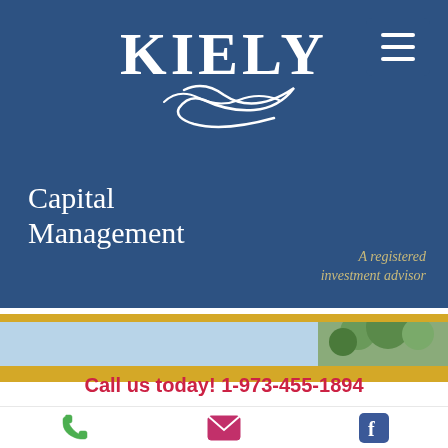[Figure (logo): Kiely Capital Management logo on dark blue background with decorative swash and tagline 'A registered investment advisor']
Call us today! 1-973-455-1894
[Figure (photo): Light blue strip with partial nature photo on the right side]
[Figure (infographic): Bottom icon bar with phone, email, and Facebook icons]